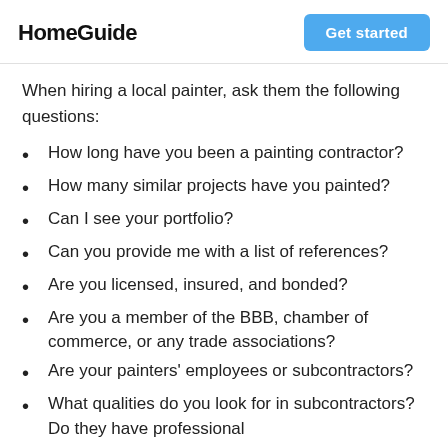HomeGuide | Get started
When hiring a local painter, ask them the following questions:
How long have you been a painting contractor?
How many similar projects have you painted?
Can I see your portfolio?
Can you provide me with a list of references?
Are you licensed, insured, and bonded?
Are you a member of the BBB, chamber of commerce, or any trade associations?
Are your painters' employees or subcontractors?
What qualities do you look for in subcontractors? Do they have professional